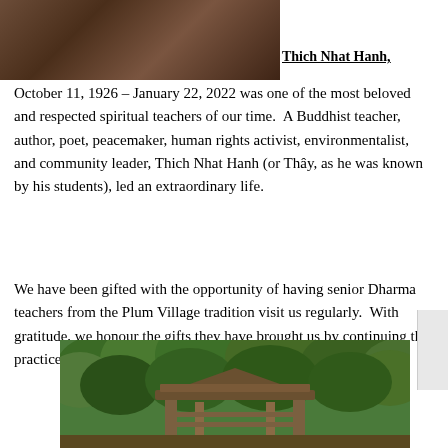[Figure (photo): Close-up photo of brown fabric or robes, partially visible person]
Thich Nhat Hanh,
October 11, 1926 – January 22, 2022 was one of the most beloved and respected spiritual teachers of our time.  A Buddhist teacher, author, poet, peacemaker, human rights activist, environmentalist, and community leader, Thich Nhat Hanh (or Thây, as he was known by his students), led an extraordinary life.
We have been gifted with the opportunity of having senior Dharma teachers from the Plum Village tradition visit us regularly.  With gratitude, we honour the gifts they have brought us by continuing the practice in our sangha.
[Figure (photo): Photo of a wooden gate or temple entrance structure surrounded by lush green trees]